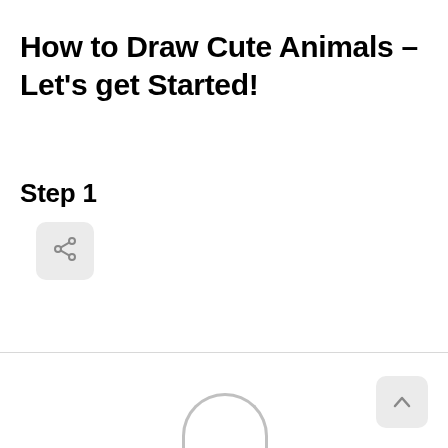How to Draw Cute Animals – Let's get Started!
Step 1
[Figure (screenshot): Share button icon (rounded rectangle button with a share/network icon)]
[Figure (screenshot): Back to top arrow button in bottom right corner and partial circle shape at bottom center]